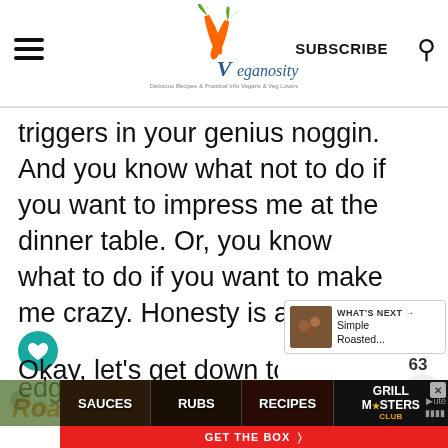Veganosity — SUBSCRIBE
triggers in your genius noggin. And you know what not to do if you want to impress me at the dinner table. Or, you know what to do if you want to make me crazy. Honesty is a double edge sword.
Okay, let's get down to busine
WHAT'S NEXT → Simple Roasted...
Roasted Tri-Color Baby Carrots
[Figure (screenshot): Advertisement banner with sections: SAUCES, RUBS, RECIPES, GRILL MASTERS CLUB, GET THE BOX >]